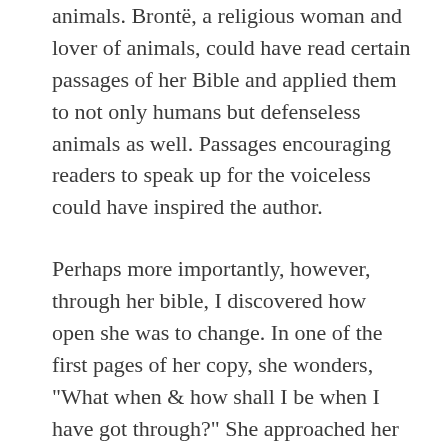animals. Brontë, a religious woman and lover of animals, could have read certain passages of her Bible and applied them to not only humans but defenseless animals as well. Passages encouraging readers to speak up for the voiceless could have inspired the author.
Perhaps more importantly, however, through her bible, I discovered how open she was to change. In one of the first pages of her copy, she wonders, “What when & how shall I be when I have got through?” She approached her reading with the knowledge that she may very well be someone else entirely once she finished. Brontë is an author that was ever-changing, willing to move and grow based on new information. In a world where women were supposed to be one way – silent and often